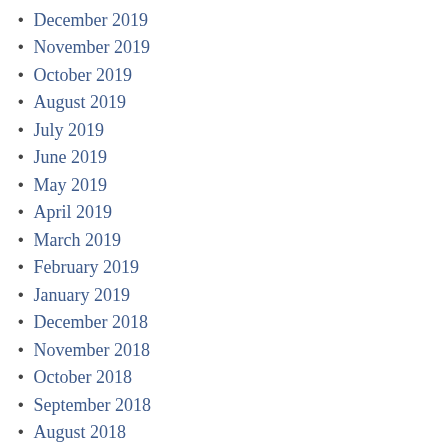December 2019
November 2019
October 2019
August 2019
July 2019
June 2019
May 2019
April 2019
March 2019
February 2019
January 2019
December 2018
November 2018
October 2018
September 2018
August 2018
July 2018
June 2018
May 2018
April 2018